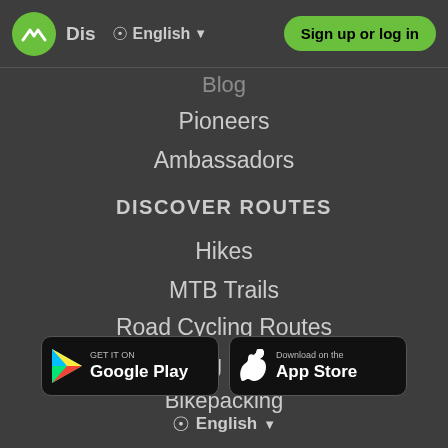[Figure (screenshot): Navigation bar with Komoot logo (green circle with chevron), 'Dis' text, globe icon, English language selector, and green 'Sign up or log in' button]
Blog
Pioneers
Ambassadors
DISCOVER ROUTES
Hikes
MTB Trails
Road Cycling Routes
Cycling Routes
Bikepacking
[Figure (screenshot): Google Play store download button (black background with Play icon and 'GET IT ON Google Play' text)]
[Figure (screenshot): Apple App Store download button (black background with Apple logo and 'Download on the App Store' text)]
⊕ English ▾